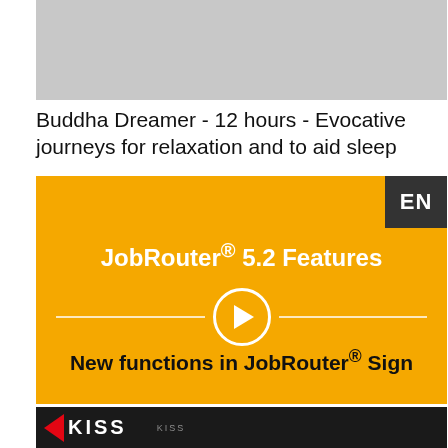[Figure (photo): Gray placeholder image at top of page]
Buddha Dreamer - 12 hours - Evocative journeys for relaxation and to aid sleep
[Figure (screenshot): JobRouter 5.2 Features video thumbnail on yellow/orange background with EN badge, play button, and text 'New functions in JobRouter Sign']
JobRouter® 5.2: More convenient electronic signing
[Figure (photo): Bottom image showing KISS logo on dark background]